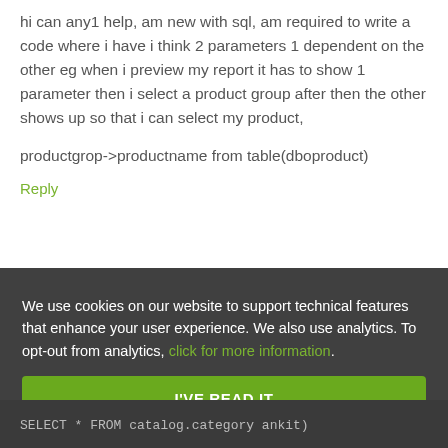hi can any1 help, am new with sql, am required to write a code where i have i think 2 parameters 1 dependent on the other eg when i preview my report it has to show 1 parameter then i select a product group after then the other shows up so that i can select my product,
productgrop->productname from table(dboproduct)
Reply
We use cookies on our website to support technical features that enhance your user experience. We also use analytics. To opt-out from analytics, click for more information.
I'VE READ IT
SELECT * FROM catalog.category ankit)